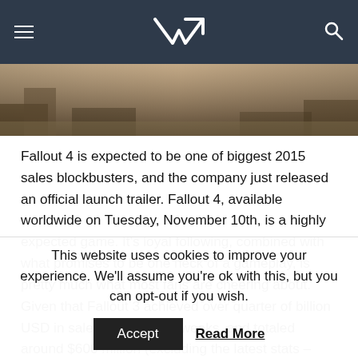VR [logo with hamburger menu and search icon]
[Figure (photo): Hero image showing a post-apocalyptic wasteland scene, brownish tones, ruins and debris]
Fallout 4 is expected to be one of biggest 2015 sales blockbusters, and the company just released an official launch trailer. Fallout 4, available worldwide on Tuesday, November 10th, is a highly expected game. It's loyal following, combined with what promises to be one heck of a gameplay, is pretty much what most fans are cheering about. Given that Fallout 3 achieved over quarter of billion USD in sales in just a few weeks, and totaled around $600 million (excluding the latest stats – Fallout 3 is again a Top 10 best selling game on Amazon.com), expectations are very high. For the past
This website uses cookies to improve your experience. We'll assume you're ok with this, but you can opt-out if you wish.
Accept   Read More